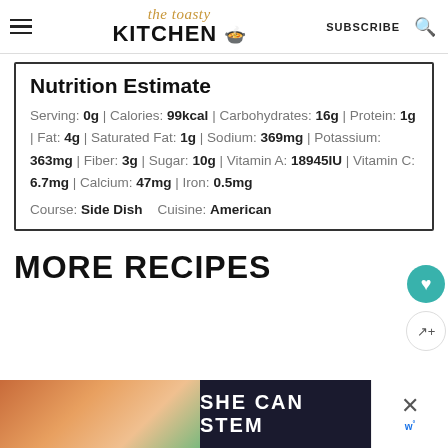the toasty KITCHEN — SUBSCRIBE [search]
Nutrition Estimate
Serving: 0g | Calories: 99kcal | Carbohydrates: 16g | Protein: 1g | Fat: 4g | Saturated Fat: 1g | Sodium: 369mg | Potassium: 363mg | Fiber: 3g | Sugar: 10g | Vitamin A: 18945IU | Vitamin C: 6.7mg | Calcium: 47mg | Iron: 0.5mg
Course: Side Dish    Cuisine: American
MORE RECIPES
[Figure (photo): Bottom banner showing food photo on left and SHE CAN STEM text on dark background, with close button and WW logo on right]